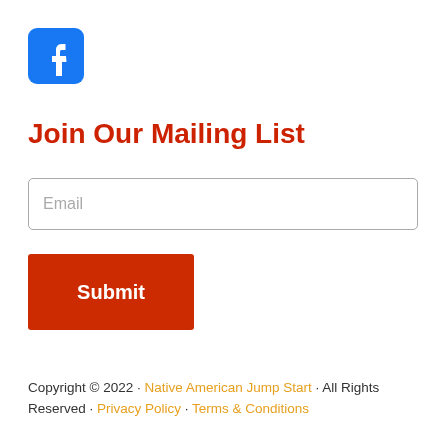[Figure (logo): Facebook logo icon — white 'f' on blue rounded square background]
Join Our Mailing List
Email (input field placeholder)
Submit (button)
Copyright © 2022 · Native American Jump Start · All Rights Reserved · Privacy Policy · Terms & Conditions